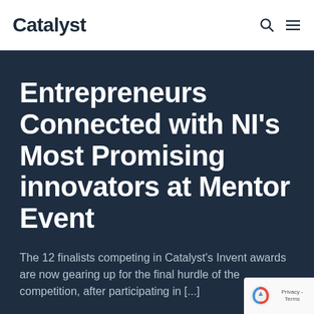Catalyst
Entrepreneurs Connected with NI's Most Promising innovators at Mentor Event
The 12 finalists competing in Catalyst's Invent awards are now gearing up for the final hurdle of the competition, after participating in [...]
June 17, 2019
Programmes